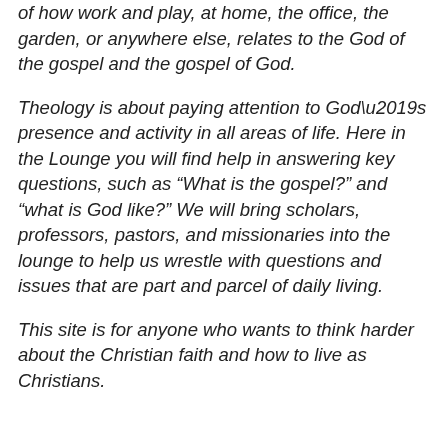of how work and play, at home, the office, the garden, or anywhere else, relates to the God of the gospel and the gospel of God.
Theology is about paying attention to God’s presence and activity in all areas of life. Here in the Lounge you will find help in answering key questions, such as “What is the gospel?” and “what is God like?” We will bring scholars, professors, pastors, and missionaries into the lounge to help us wrestle with questions and issues that are part and parcel of daily living.
This site is for anyone who wants to think harder about the Christian faith and how to live as Christians.